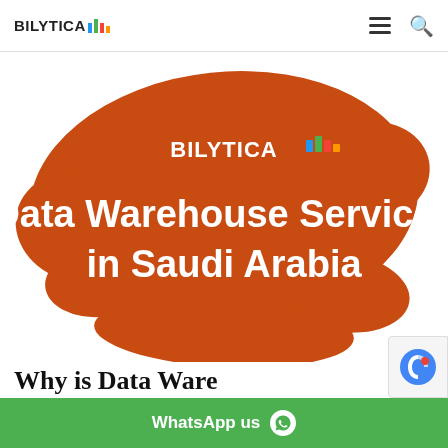[Figure (logo): Bilytica logo with bar chart icon in header]
[Figure (illustration): Orange paint splash background with Bilytica logo and text: Data Warehouse Services in Saudi Arabia]
Why is Data Ware...
WhatsApp us